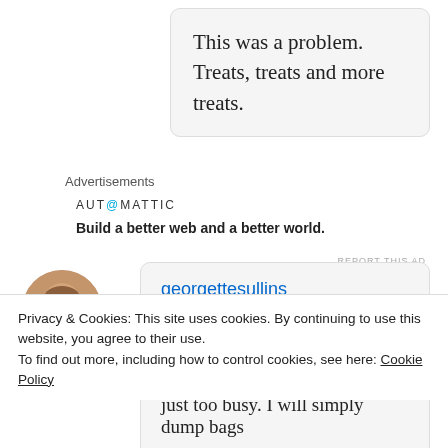This was a problem. Treats, treats and more treats.
Advertisements
AUTOMATTIC
Build a better web and a better world.
REPORT THIS AD
georgettesullins
October 28, 2012 at 12:01 pm

Love your smiling pumpkin, door arrangement and the leaves on the mantle! Usually I make those spooky
Privacy & Cookies: This site uses cookies. By continuing to use this website, you agree to their use.
To find out more, including how to control cookies, see here: Cookie Policy
Close and accept
just too busy. I will simply dump bags